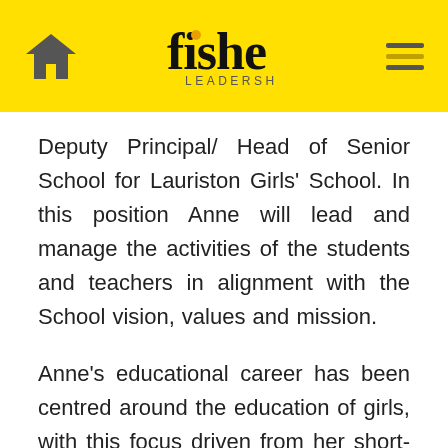Fisher Leadership
Deputy Principal/ Head of Senior School for Lauriston Girls' School. In this position Anne will lead and manage the activities of the students and teachers in alignment with the School vision, values and mission.
Anne's educational career has been centred around the education of girls, with this focus driven from her short-term secondment to a university career department and